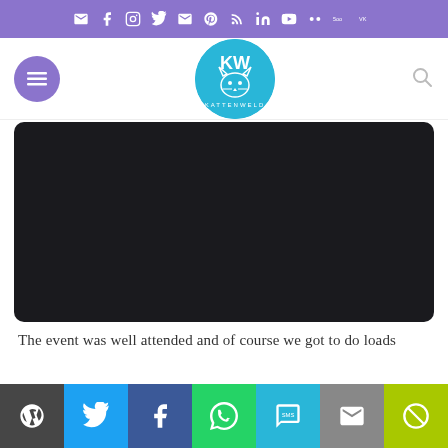Social sharing bar with icons: email, facebook, instagram, twitter, email, pinterest, rss, linkedin, youtube, flickr, 500px, vk
[Figure (screenshot): Website navigation bar with hamburger menu button (purple circle), cat logo circle (blue), and search icon]
[Figure (photo): Large black/dark video embed area with rounded corners]
The event was well attended and of course we got to do loads
Bottom share bar: WordPress, Twitter, Facebook, WhatsApp, SMS, Email, Hide